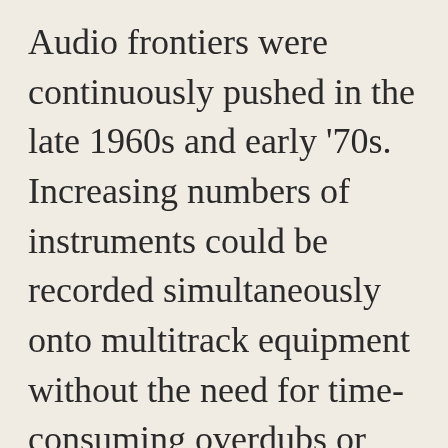Audio frontiers were continuously pushed in the late 1960s and early '70s. Increasing numbers of instruments could be recorded simultaneously onto multitrack equipment without the need for time-consuming overdubs or mixdowns. Engineers had just installed a new, untested 16 track analog tape recorder into the Chicago studio where the Ides of March assembled to cut their single. Since all the sound was recorded directly to magnetic tape, there was no 'undo' button if something was erased or accidentally recorded over. It would be permanently gone. If an edit had to be made